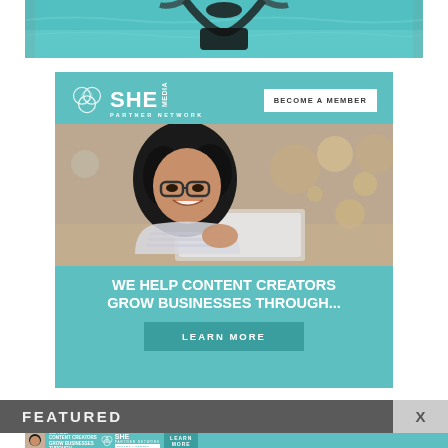[Figure (photo): Top portion of a photo showing a person near a pool or water, viewed from above, with teal/aqua water background]
[Figure (infographic): SHE Media Partner Network advertisement with teal background. Header shows SHE Media logo and 'BECOME A MEMBER' button. Center photo shows a smiling woman with glasses and curly hair holding a tablet. Text reads 'WE HELP CONTENT CREATORS GROW BUSINESSES THROUGH...' with a 'LEARN MORE' button.]
FEATURED
[Figure (infographic): Bottom banner ad for SHE Media Partner Network showing same messaging: 'WE HELP CONTENT CREATORS GROW BUSINESSES THROUGH...' with SHE logo, person with tablet, and 'LEARN MORE' button]